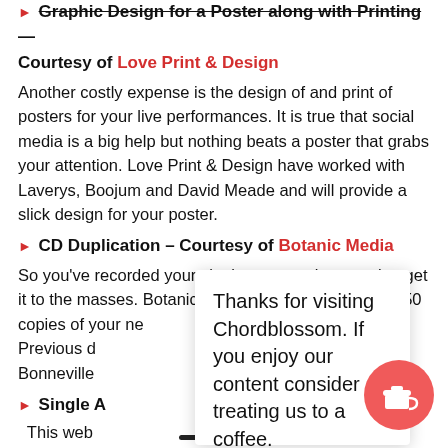Graphic Design for a Poster along with Printing — Courtesy of Love Print & Design
Another costly expense is the design of and print of posters for your live performances. It is true that social media is a big help but nothing beats a poster that grabs your attention. Love Print & Design have worked with Laverys, Boojum and David Meade and will provide a slick design for your poster.
CD Duplication – Courtesy of Botanic Media
So you've recorded your single now you just need to get it to the masses. Botanic Media will provide you with 50 copies of your ne see fit. Previous d he Bonneville
Single A
This web ience We'll assume if y
Thanks for visiting Chordblossom. If you enjoy our content consider treating us to a coffee.